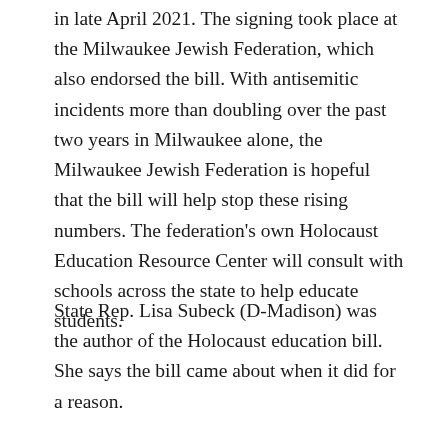in late April 2021. The signing took place at the Milwaukee Jewish Federation, which also endorsed the bill. With antisemitic incidents more than doubling over the past two years in Milwaukee alone, the Milwaukee Jewish Federation is hopeful that the bill will help stop these rising numbers. The federation's own Holocaust Education Resource Center will consult with schools across the state to help educate students.
State Rep. Lisa Subeck (D-Madison) was the author of the Holocaust education bill. She says the bill came about when it did for a reason.